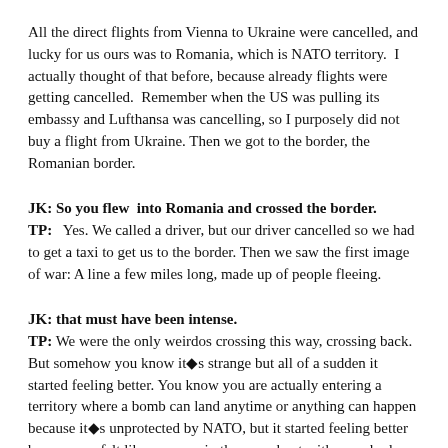All the direct flights from Vienna to Ukraine were cancelled, and lucky for us ours was to Romania, which is NATO territory.  I actually thought of that before, because already flights were getting cancelled.  Remember when the US was pulling its embassy and Lufthansa was cancelling, so I purposely did not buy a flight from Ukraine. Then we got to the border, the Romanian border.
JK: So you flew  into Romania and crossed the border.
TP:   Yes. We called a driver, but our driver cancelled so we had to get a taxi to get us to the border. Then we saw the first image of war: A line a few miles long, made up of people fleeing.
JK: that must have been intense.
TP: We were the only weirdos crossing this way, crossing back. But somehow you know it■s strange but all of a sudden it started feeling better. You know you are actually entering a territory where a bomb can land anytime or anything can happen because it■s unprotected by NATO, but it started feeling better because we felt like we were in the same boat with everybody else. Everybody knows and everybody is in the same trouble, and you share it. Because the worst feeling is of being alone thinking nobody cares. Oh yeah we feel so sorry but there is nothing we can do.